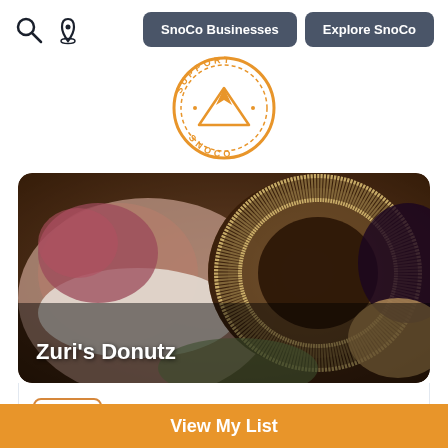[Figure (logo): Support SnoCo circular badge logo with mountain graphic and orange border]
SnoCo Businesses
Explore SnoCo
[Figure (photo): Close-up photo of assorted donuts including a chocolate nut-covered donut and others with various toppings]
Zuri's Donutz
View My List